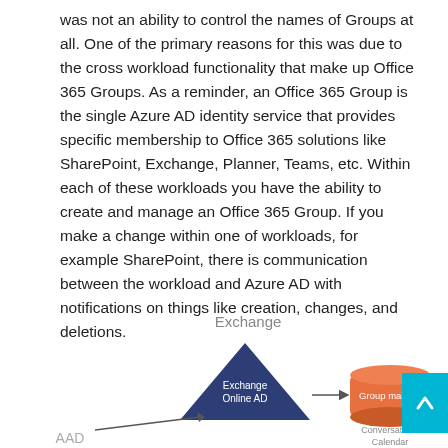was not an ability to control the names of Groups at all. One of the primary reasons for this was due to the cross workload functionality that make up Office 365 Groups. As a reminder, an Office 365 Group is the single Azure AD identity service that provides specific membership to Office 365 solutions like SharePoint, Exchange, Planner, Teams, etc. Within each of these workloads you have the ability to create and manage an Office 365 Group. If you make a change within one of workloads, for example SharePoint, there is communication between the workload and Azure AD with notifications on things like creation, changes, and deletions.
[Figure (infographic): Diagram showing Exchange at the top with a dark blue triangle labeled 'Exchange Online AD', an arrow pointing right to an orange cylinder labeled 'Group mailbox' with 'Conversations Calendar' below it. 'AAD' label in bottom left with a line pointing upward toward the triangle. A cyan scroll button with up arrow on the far right.]